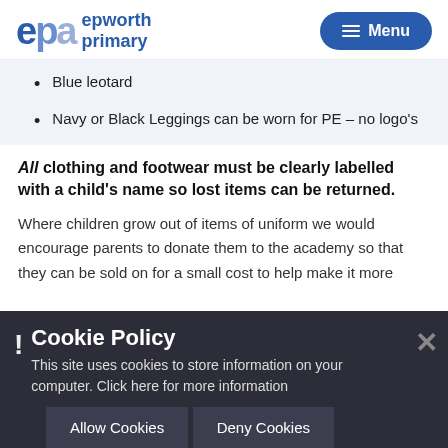Epworth Primary — Menu
Blue leotard
Navy or Black Leggings can be worn for PE – no logo's
All clothing and footwear must be clearly labelled with a child's name so lost items can be returned.
Where children grow out of items of uniform we would encourage parents to donate them to the academy so that they can be sold on for a small cost to help make it more affordable...
Cookie Policy
This site uses cookies to store information on your computer. Click here for more information
Allow Cookies   Deny Cookies